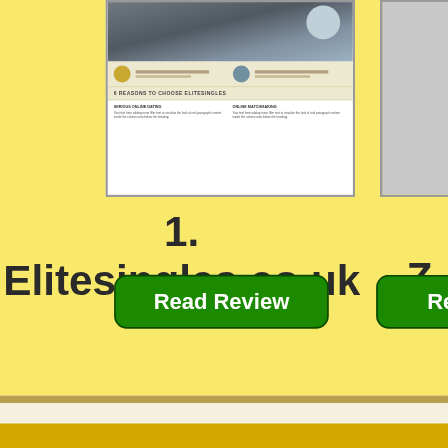[Figure (screenshot): Screenshot of Elitesingles.co.uk website showing branding, profile sections, and content columns on a beige/gold background]
1.
Elitesingles.co.uk
Z
Read Review
Re